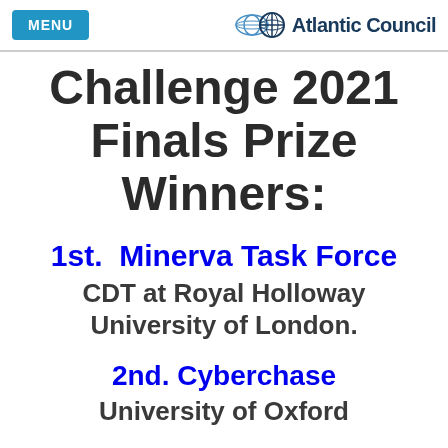MENU | Atlantic Council
Challenge 2021 Finals Prize Winners:
1st.  Minerva Task Force
CDT at Royal Holloway University of London.
2nd. Cyberchase
University of Oxford